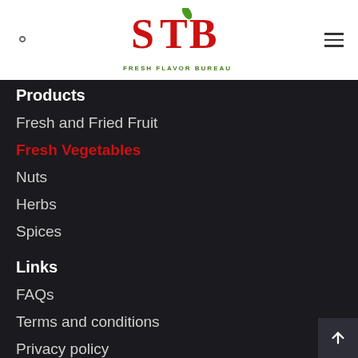[Figure (logo): STB logo with red letters and green subtitle text reading FRESH FLAVOR BUREAU]
Products
Fresh and Fried Fruit
Fresh Vegetables
Nuts
Herbs
Spices
Links
FAQs
Terms and conditions
Privacy policy
Legal information